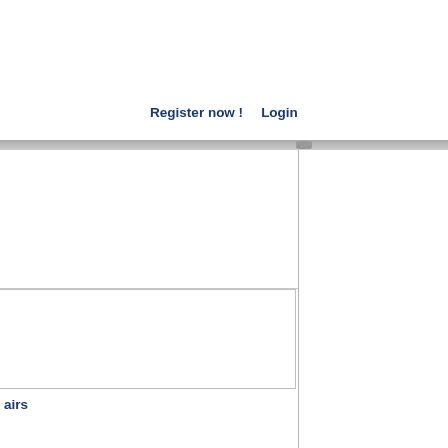Register now !   Login
[Figure (screenshot): Web page layout with navigation bar showing 'Register now!' and 'Login' links, a horizontal separator bar, a two-column layout below with content boxes and partial text 'airs' visible in the lower left section.]